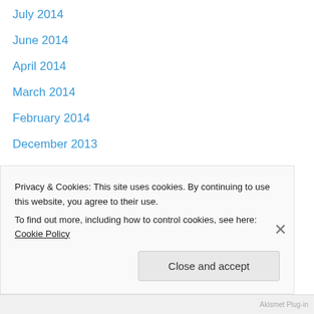July 2014
June 2014
April 2014
March 2014
February 2014
December 2013
November 2013
September 2013
August 2013
July 2013
June 2013
May 2013
April 2013
Privacy & Cookies: This site uses cookies. By continuing to use this website, you agree to their use.
To find out more, including how to control cookies, see here: Cookie Policy
Close and accept